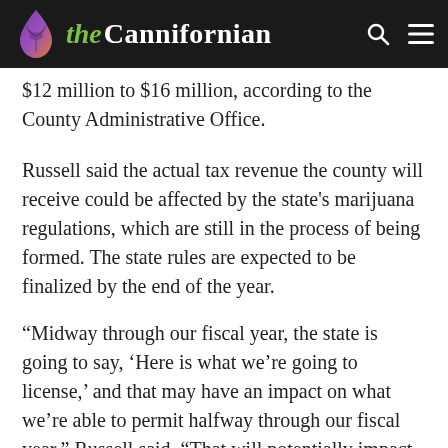the Cannifornian
$12 million to $16 million, according to the County Administrative Office.
Russell said the actual tax revenue the county will receive could be affected by the state's marijuana regulations, which are still in the process of being formed. The state rules are expected to be finalized by the end of the year.
“Midway through our fiscal year, the state is going to say, ‘Here is what we’re going to license,’ and that may have an impact on what we’re able to permit halfway through our fiscal year,” Russell said. “That will potentially impact the dollars we see from